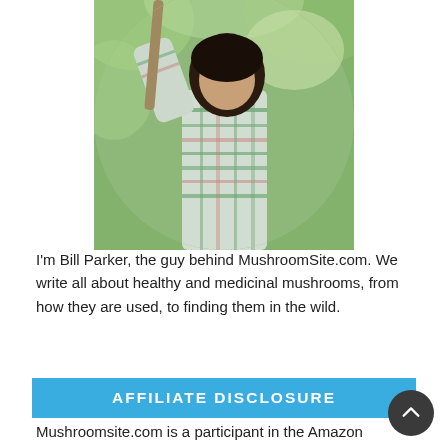[Figure (photo): Circular cropped photo of a person (Bill Parker) wearing a plaid shirt and holding a stick/tool over their shoulder, outdoors with green background]
I'm Bill Parker, the guy behind MushroomSite.com. We write all about healthy and medicinal mushrooms, from how they are used, to finding them in the wild.
AFFILIATE DISCLOSURE
Mushroomsite.com is a participant in the Amazon Services LLC Associates Program, an affiliate advertising program designed to provide a means for sites to earn advertising fees by advertising and linking to Amazon.com. Mushroomsite.com also